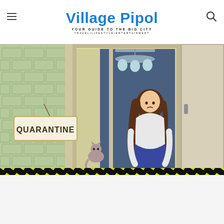Village Pipol — YOUR GUIDE TO THE BIG CITY — TRAVEL•LIFESTYLE•ENTERTAINMENT
[Figure (illustration): Illustration of a sad girl sitting hugging her knees at a window sill with curtains, a cat beside her, a flower pot, a chandelier above, a door on the right, and a QUARANTINE sign hanging on a brick wall on the left. Yellow and black hazard tape borders the bottom of the image.]